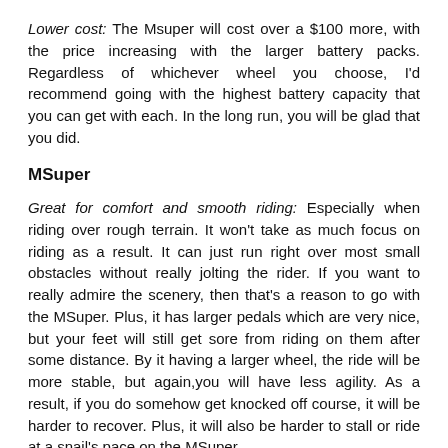Lower cost: The Msuper will cost over a $100 more, with the price increasing with the larger battery packs. Regardless of whichever wheel you choose, I'd recommend going with the highest battery capacity that you can get with each. In the long run, you will be glad that you did.
MSuper
Great for comfort and smooth riding: Especially when riding over rough terrain. It won't take as much focus on riding as a result. It can just run right over most small obstacles without really jolting the rider. If you want to really admire the scenery, then that's a reason to go with the MSuper. Plus, it has larger pedals which are very nice, but your feet will still get sore from riding on them after some distance. By it having a larger wheel, the ride will be more stable, but again,you will have less agility. As a result, if you do somehow get knocked off course, it will be harder to recover. Plus, it will also be harder to stall or ride at a snail's pace on the MSuper.
A wheel of monstrous proportions: People will actually feel dread with your passing. And in my opinion, I think this is a bad thing, but it might just be the sort of attention that you want. In addition